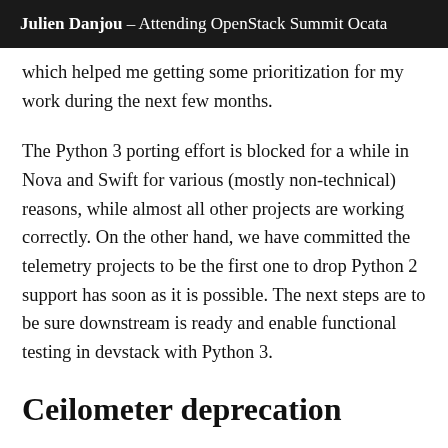Julien Danjou – Attending OpenStack Summit Ocata
which helped me getting some prioritization for my work during the next few months.
The Python 3 porting effort is blocked for a while in Nova and Swift for various (mostly non-technical) reasons, while almost all other projects are working correctly. On the other hand, we have committed the telemetry projects to be the first one to drop Python 2 support has soon as it is possible. The next steps are to be sure downstream is ready and enable functional testing in devstack with Python 3.
Ceilometer deprecation